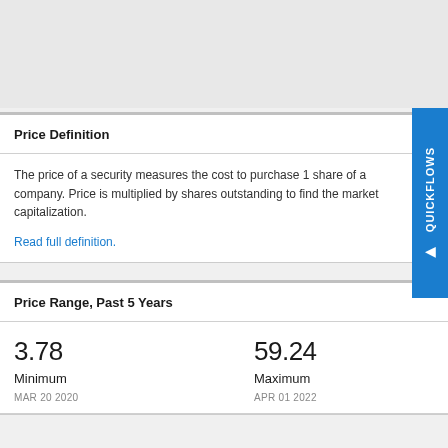Price Definition
The price of a security measures the cost to purchase 1 share of a company. Price is multiplied by shares outstanding to find the market capitalization.
Read full definition.
Price Range, Past 5 Years
| Minimum | Maximum |
| --- | --- |
| 3.78 | 59.24 |
| MAR 20 2020 | APR 01 2022 |